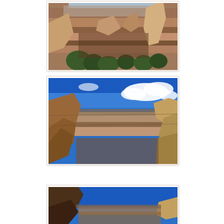[Figure (photo): Aerial view of Grand Canyon showing layered red and tan rock formations, green trees in foreground, deep canyon valleys, blue sky with haze in background]
[Figure (photo): Grand Canyon panoramic view with bright blue sky and white clouds above, large tan and brown rock formations framing the sides, colorful layered canyon plateaus in the distance]
[Figure (photo): Grand Canyon view partially cropped, showing large dark rocky cliff on left, deep blue sky, and canyon layers in distance]